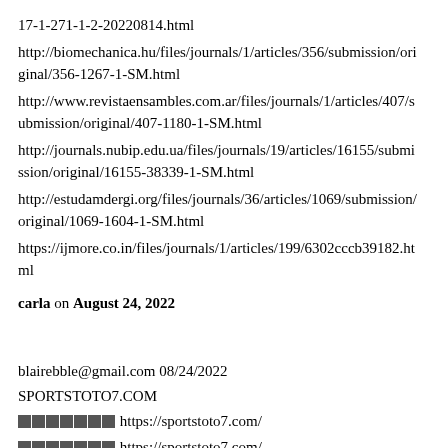17-1-271-1-2-20220814.html
http://biomechanica.hu/files/journals/1/articles/356/submission/original/356-1267-1-SM.html
http://www.revistaensambles.com.ar/files/journals/1/articles/407/submission/original/407-1180-1-SM.html
http://journals.nubip.edu.ua/files/journals/19/articles/16155/submission/original/16155-38339-1-SM.html
http://estudamdergi.org/files/journals/36/articles/1069/submission/original/1069-1604-1-SM.html
https://ijmore.co.in/files/journals/1/articles/199/6302cccb39182.html
carla on August 24, 2022
blairebble@gmail.com 08/24/2022
SPORTSTOTO7.COM
[corrupted] https://sportstoto7.com/
[corrupted] https://sportstoto7.com/
[corrupted] https://sportstoto7.com/